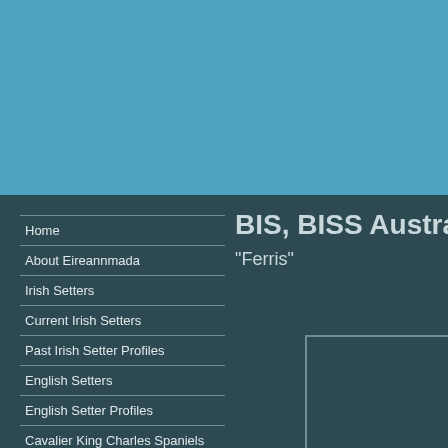[Figure (photo): Teal/blue banner at top of page, solid color background]
Home
About Eireannmada
Irish Setters
Current Irish Setters
Past Irish Setter Profiles
English Setters
English Setter Profiles
Cavalier King Charles Spaniels
BIS, BISS Austra
"Ferris"
[Figure (photo): Partial photo of a dog, partially visible in bottom right area]